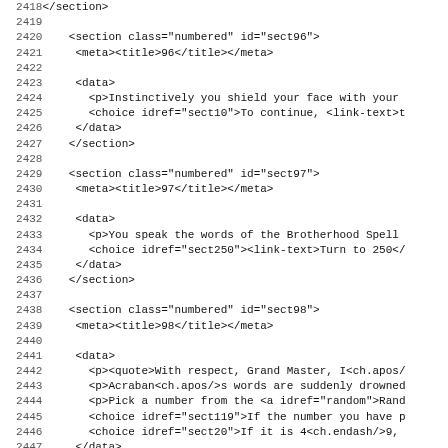Code listing showing XML sections 96-99 with line numbers 2418-2450